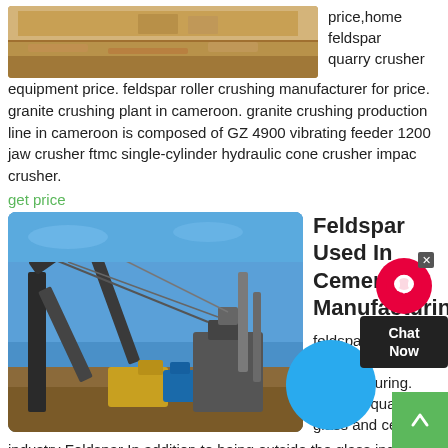[Figure (photo): Aerial view of an open-pit quarry or mining site with sandy/rocky terrain]
price,home feldspar quarry crusher equipment price. feldspar roller crushing manufacturer for price. granite crushing plant in cameroon. granite crushing production line in cameroon is composed of GZ 4900 vibrating feeder 1200 jaw crusher ftmc single-cylinder hydraulic cone crusher impact crusher.
get price
[Figure (photo): Large industrial cement or mining facility with conveyor belts and heavy machinery against a blue sky]
Feldspar Used In Cement Manufacturing
feldspar used in cement manufacturing. feldspar quality for glass and ceramic industry Feldspar In addition to being outside the glass industrial raw materials (about the total amount of 60%) in the Preheater and Calciner A TEC A TEC Cement Pyroprocess The core of the